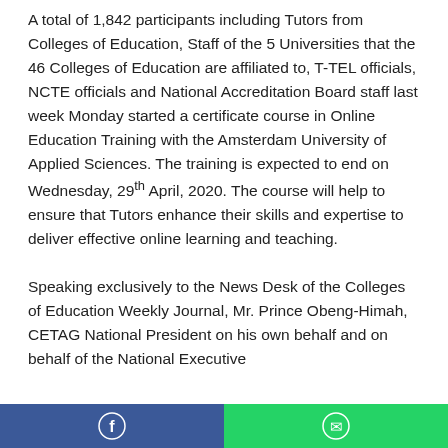A total of 1,842 participants including Tutors from Colleges of Education, Staff of the 5 Universities that the 46 Colleges of Education are affiliated to, T-TEL officials, NCTE officials and National Accreditation Board staff last week Monday started a certificate course in Online Education Training with the Amsterdam University of Applied Sciences. The training is expected to end on Wednesday, 29th April, 2020. The course will help to ensure that Tutors enhance their skills and expertise to deliver effective online learning and teaching.
Speaking exclusively to the News Desk of the Colleges of Education Weekly Journal, Mr. Prince Obeng-Himah, CETAG National President on his own behalf and on behalf of the National Executive
Facebook share | WhatsApp share